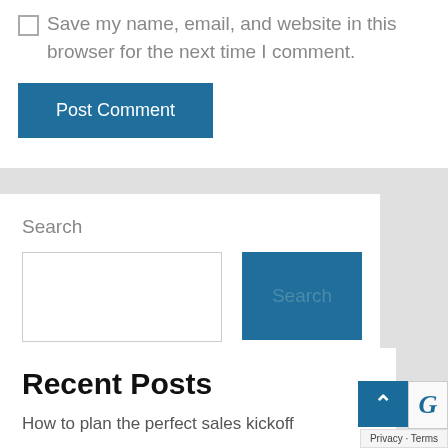Save my name, email, and website in this browser for the next time I comment.
Post Comment
Search
Search
Recent Posts
How to plan the perfect sales kickoff